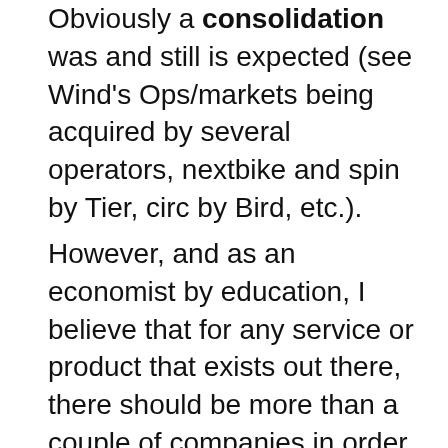Obviously a consolidation was and still is expected (see Wind's Ops/markets being acquired by several operators, nextbike and spin by Tier, circ by Bird, etc.).
However, and as an economist by education, I believe that for any service or product that exists out there, there should be more than a couple of companies in order for not having a monopoly. Of course when the government participates, one